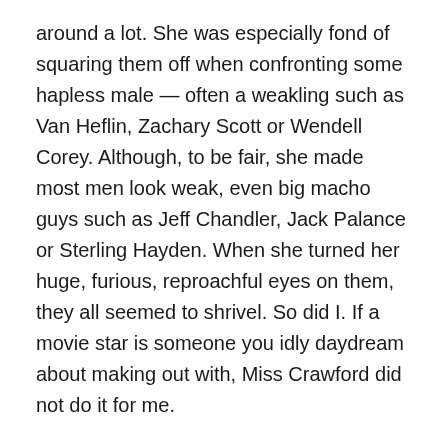around a lot. She was especially fond of squaring them off when confronting some hapless male — often a weakling such as Van Heflin, Zachary Scott or Wendell Corey. Although, to be fair, she made most men look weak, even big macho guys such as Jeff Chandler, Jack Palance or Sterling Hayden. When she turned her huge, furious, reproachful eyes on them, they all seemed to shrivel. So did I. If a movie star is someone you idly daydream about making out with, Miss Crawford did not do it for me.
Maybe I just needed to grow up, because sometime in my 40s, I started to change my mind. By then I'd seen some of her best work: Possessed, Grand Hotel, The Women, Strange Cargo, Mildred Pierce. Of course, in these movies she had vivid co-stars and wasn't the whole show; I still didn't think she was a very good actress, or even